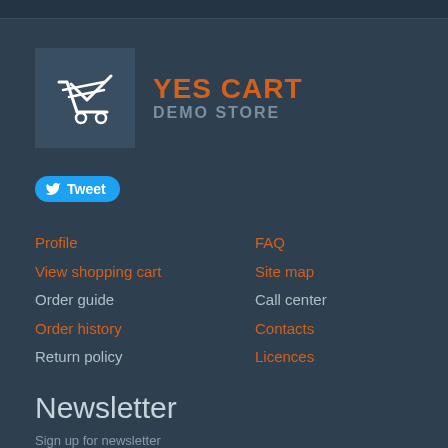[Figure (logo): YES CART DEMO STORE logo with shopping cart icon on dark background]
Tweet
Profile
View shopping cart
Order guide
Order history
Return policy
FAQ
Site map
Call center
Contacts
Licences
Newsletter
Sign up for newsletter